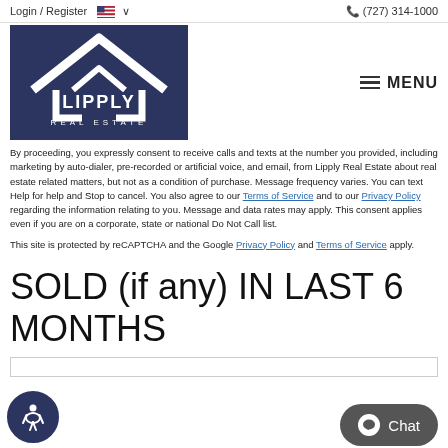Login / Register  🇺🇸 ∨   📞 (727) 314-1000
[Figure (logo): Lipply Real Estate logo — white house/roof outline on dark navy background with text LIPPLY REAL ESTATE]
≡ MENU
By proceeding, you expressly consent to receive calls and texts at the number you provided, including marketing by auto-dialer, pre-recorded or artificial voice, and email, from Lipply Real Estate about real estate related matters, but not as a condition of purchase. Message frequency varies. You can text Help for help and Stop to cancel. You also agree to our Terms of Service and to our Privacy Policy regarding the information relating to you. Message and data rates may apply. This consent applies even if you are on a corporate, state or national Do Not Call list.
This site is protected by reCAPTCHA and the Google Privacy Policy and Terms of Service apply.
SOLD (if any) IN LAST 6 MONTHS